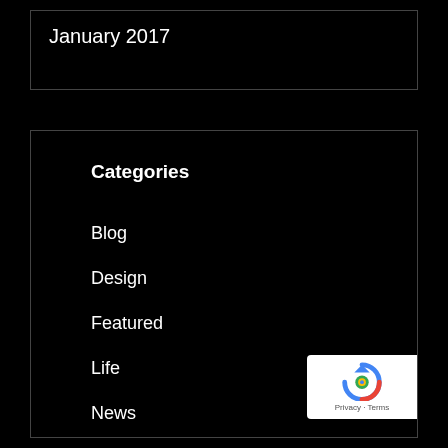January 2017
Categories
Blog
Design
Featured
Life
News
Photography
[Figure (logo): Google reCAPTCHA badge with circular arrow icon and Privacy/Terms text]